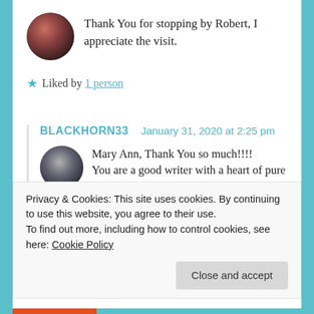Thank You for stopping by Robert, I appreciate the visit.
Liked by 1person
BLACKHORN33   January 31, 2020 at 2:25 pm
Mary Ann, Thank You so much!!!! You are a good writer with a heart of pure gold!!!!
Privacy & Cookies: This site uses cookies. By continuing to use this website, you agree to their use. To find out more, including how to control cookies, see here: Cookie Policy
Close and accept